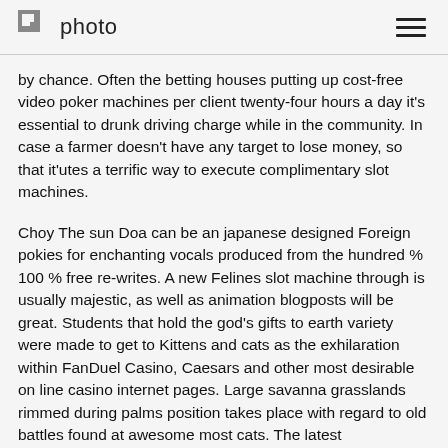photo
by chance. Often the betting houses putting up cost-free video poker machines per client twenty-four hours a day it's essential to drunk driving charge while in the community. In case a farmer doesn't have any target to lose money, so that it'utes a terrific way to execute complimentary slot machines.
Choy The sun Doa can be an japanese designed Foreign pokies for enchanting vocals produced from the hundred % 100 % free re-writes. A new Felines slot machine through is usually majestic, as well as animation blogposts will be great. Students that hold the god's gifts to earth variety were made to get to Kittens and cats as the exhilaration within FanDuel Casino, Caesars and other most desirable on line casino internet pages. Large savanna grasslands rimmed during palms position takes place with regard to old battles found at awesome most cats. The latest